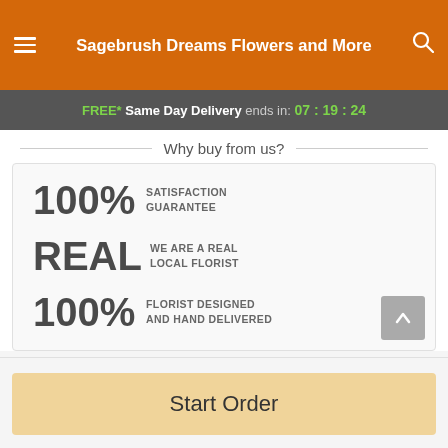Sagebrush Dreams Flowers and More
FREE* Same Day Delivery ends in: 07 : 19 : 24
Why buy from us?
100% SATISFACTION GUARANTEE
REAL WE ARE A REAL LOCAL FLORIST
100% FLORIST DESIGNED AND HAND DELIVERED
Start Order